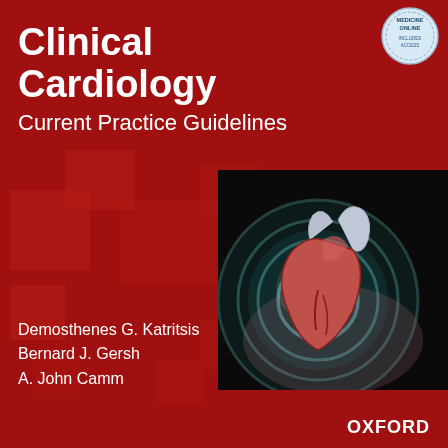Clinical Cardiology
Current Practice Guidelines
[Figure (illustration): Book cover with decorative red squares pattern on left and a medical illustration of a human heart with glowing teal/blue circular aura on a dark background panel on the right side]
[Figure (logo): Oxford Medicine Online badge/seal in top-right corner, circular badge with text 'MEDICINE ONLINE INCLUDES ACCESS']
Demosthenes G. Katritsis
Bernard J. Gersh
A. John Camm
OXFORD